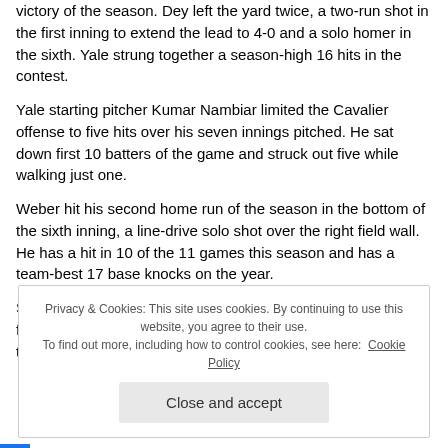victory of the season. Dey left the yard twice, a two-run shot in the first inning to extend the lead to 4-0 and a solo homer in the sixth. Yale strung together a season-high 16 hits in the contest.
Yale starting pitcher Kumar Nambiar limited the Cavalier offense to five hits over his seven innings pitched. He sat down first 10 batters of the game and struck out five while walking just one.
Weber hit his second home run of the season in the bottom of the sixth inning, a line-drive solo shot over the right field wall. He has a hit in 10 of the 11 games this season and has a team-best 17 base knocks on the year.
Senior Justin Novak (Tokyo, Japan) had two of the Cavaliers five hits including an RBI double in the bottom of the seventh to make the score 8-4. Filkhoff drove in a run...
Privacy & Cookies: This site uses cookies. By continuing to use this website, you agree to their use. To find out more, including how to control cookies, see here: Cookie Policy
Close and accept